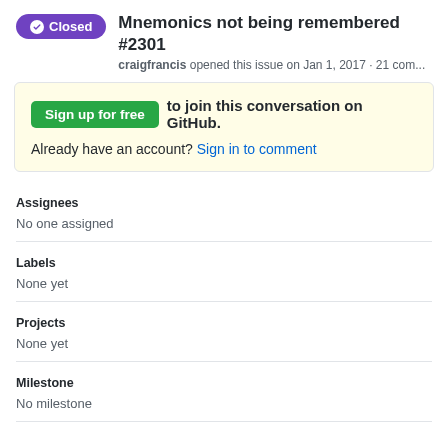Mnemonics not being remembered #2301 — craigfrancis opened this issue on Jan 1, 2017 · 21 com...
Sign up for free to join this conversation on GitHub.
Already have an account? Sign in to comment
Assignees
No one assigned
Labels
None yet
Projects
None yet
Milestone
No milestone